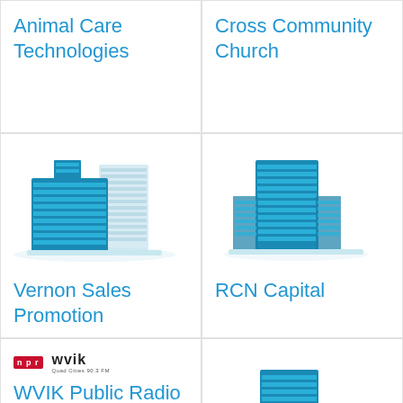Animal Care Technologies
Cross Community Church
[Figure (illustration): Building/office illustration for Vernon Sales Promotion]
Vernon Sales Promotion
[Figure (illustration): Building/office illustration for RCN Capital]
RCN Capital
[Figure (logo): NPR and WVIK logos]
WVIK Public Radio
Radio station
[Figure (illustration): Building/office illustration for Cricket]